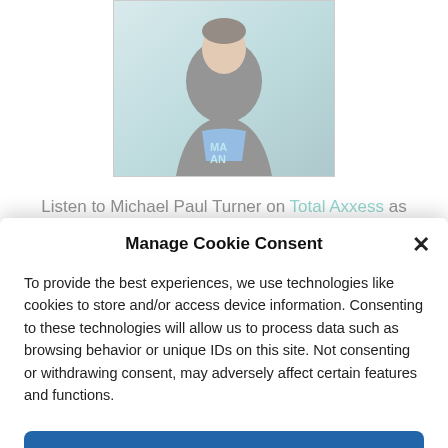[Figure (photo): Photo of a person wearing a blue t-shirt and dark jacket, against a teal/light blue background]
Listen to Michael Paul Turner on Total Axxess as he talks about his own book and why he wrote it.
Manage Cookie Consent
To provide the best experiences, we use technologies like cookies to store and/or access device information. Consenting to these technologies will allow us to process data such as browsing behavior or unique IDs on this site. Not consenting or withdrawing consent, may adversely affect certain features and functions.
Accept
Cookie Policy   Disclosure Policy